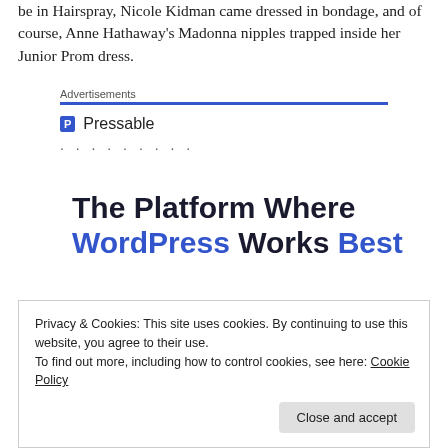be in Hairspray, Nicole Kidman came dressed in bondage, and of course, Anne Hathaway's Madonna nipples trapped inside her Junior Prom dress.
[Figure (infographic): Pressable advertisement banner with logo, dotted separator, and headline reading 'The Platform Where WordPress Works Best']
Privacy & Cookies: This site uses cookies. By continuing to use this website, you agree to their use.
To find out more, including how to control cookies, see here: Cookie Policy